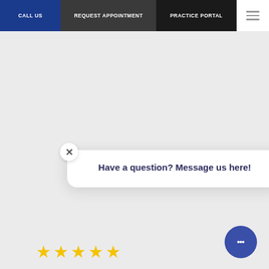CALL US | REQUEST APPOINTMENT | PRACTICE PORTAL
[Figure (other): Five gold star rating]
Everyone is super nice. Appointments are not long wait times.
Tina N.   18, 2022
Have a question? Message us here!
[Figure (other): Five gold star rating at bottom]